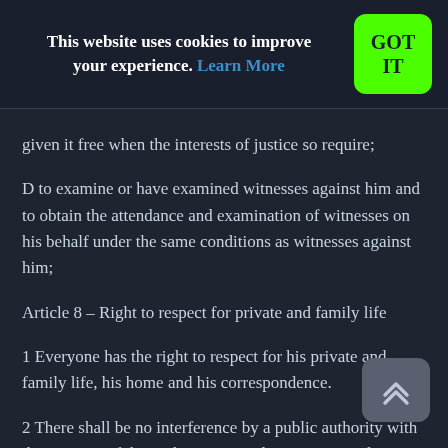This website uses cookies to improve your experience. Learn More | GOT IT
given it free when the interests of justice so require;
D to examine or have examined witnesses against him and to obtain the attendance and examination of witnesses on his behalf under the same conditions as witnesses against him;
Article 8 – Right to respect for private and family life
1 Everyone has the right to respect for his private and family life, his home and his correspondence.
2 There shall be no interference by a public authority with the exercise of this right except such as is in accordance with the law and is necessary in